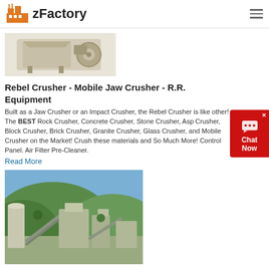zFactory
[Figure (photo): Industrial jaw crusher machine, beige/cream colored metal equipment on white background]
Rebel Crusher - Mobile Jaw Crusher - R.R. Equipment
Built as a Jaw Crusher or an Impact Crusher, the Rebel Crusher is like other! The BEST Rock Crusher, Concrete Crusher, Stone Crusher, Asp Crusher, Block Crusher, Brick Crusher, Granite Crusher, Glass Crusher, and Mobile Crusher on the Market! Crush these materials and So Much More! Control Panel. Air Filter Pre-Cleaner.
Read More
[Figure (photo): Quarry and stone crushing plant with green hills in background, industrial conveyors and silos visible]
Jaw Crusher Dealers Vernon B.C. Crusher Mills, Cone ...
rock crusher for sale bc – Ore Machine China. Vernon – BC – Canada –